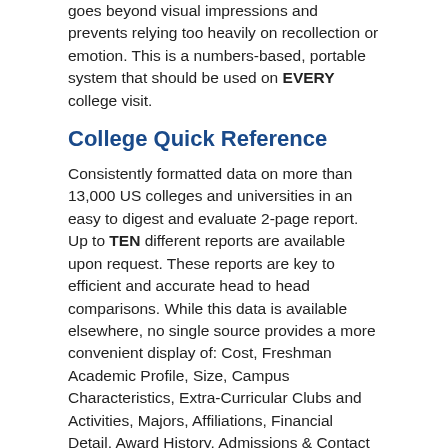goes beyond visual impressions and prevents relying too heavily on recollection or emotion. This is a numbers-based, portable system that should be used on EVERY college visit.
College Quick Reference
Consistently formatted data on more than 13,000 US colleges and universities in an easy to digest and evaluate 2-page report. Up to TEN different reports are available upon request. These reports are key to efficient and accurate head to head comparisons. While this data is available elsewhere, no single source provides a more convenient display of: Cost, Freshman Academic Profile, Size, Campus Characteristics, Extra-Curricular Clubs and Activities, Majors, Affiliations, Financial Detail, Award History, Admissions & Contact Data and the most important statistic: 4-, 5 and 6-year graduation rates.
College Parent Kit & Planning Resource Binder
This handsome binder contains valuable resources including financial aid reference guides, student and parent loan information, college planning calendar, scholarship